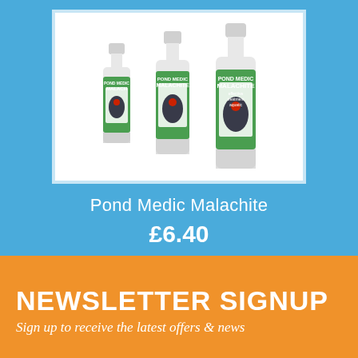[Figure (photo): Three bottles of Pond Medic Malachite product in different sizes, with green and white labels featuring a koi fish design]
Pond Medic Malachite
£6.40
NEWSLETTER SIGNUP
Sign up to receive the latest offers & news